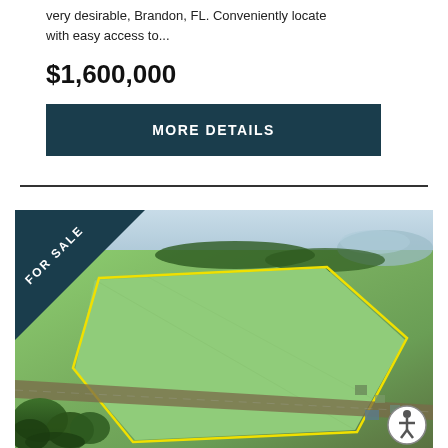very desirable, Brandon, FL. Conveniently locate with easy access to...
$1,600,000
MORE DETAILS
[Figure (photo): Aerial photograph of a large parcel of land for sale in Florida, showing green fields outlined with yellow property boundaries, trees, a road, and a FOR SALE banner in the top-left corner. An accessibility icon appears in the bottom-right.]